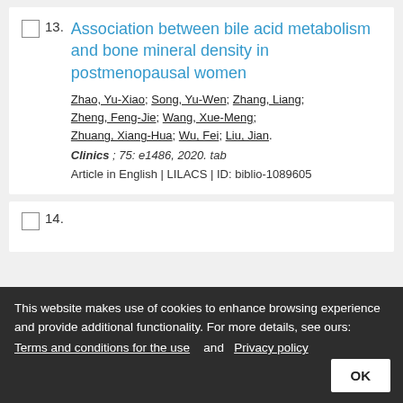13. Association between bile acid metabolism and bone mineral density in postmenopausal women
Zhao, Yu-Xiao; Song, Yu-Wen; Zhang, Liang; Zheng, Feng-Jie; Wang, Xue-Meng; Zhuang, Xiang-Hua; Wu, Fei; Liu, Jian.
Clinics ; 75: e1486, 2020. tab
Article in English | LILACS | ID: biblio-1089605
14. [partial, cut off]
This website makes use of cookies to enhance browsing experience and provide additional functionality. For more details, see ours: Terms and conditions for the use and Privacy policy